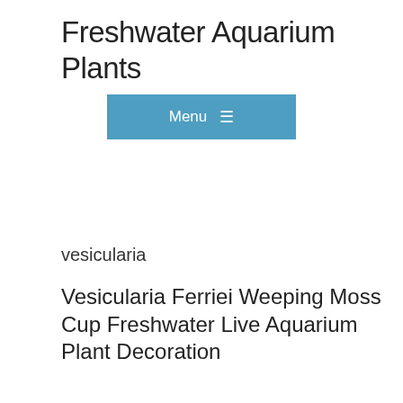Freshwater Aquarium Plants
[Figure (screenshot): Blue navigation menu button with hamburger icon and text 'Menu']
vesicularia
Vesicularia Ferriei Weeping Moss Cup Freshwater Live Aquarium Plant Decoration
Vesicularia Ferriei Weeping Moss in Cup. You will get 1 Cup of. Weeping Moss is one of the moss that has a bright green color. Itll help you to make a depth and contrast in your aquascape. Itll be a nice carpet for your aquarium tank decoration or it can even attach to